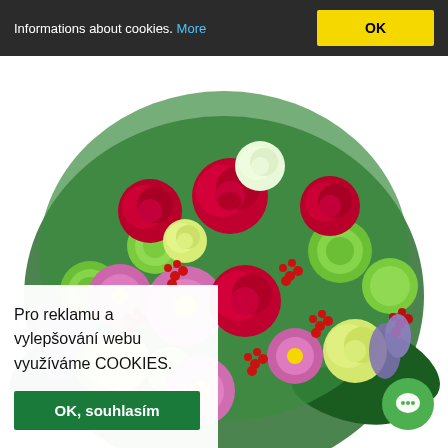Informations about cookies. More
[Figure (photo): A colorful flower bouquet featuring red roses, pink daisies, yellow-green roses, green button chrysanthemums, red berries, and purple lavender on a white background.]
Pro reklamu a vylepšování webu využíváme COOKIES.
OK, souhlasím